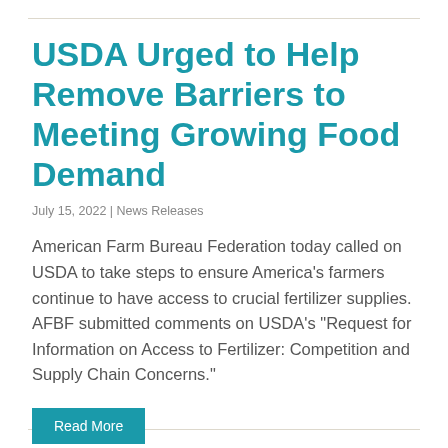USDA Urged to Help Remove Barriers to Meeting Growing Food Demand
July 15, 2022 | News Releases
American Farm Bureau Federation today called on USDA to take steps to ensure America’s farmers continue to have access to crucial fertilizer supplies. AFBF submitted comments on USDA’s “Request for Information on Access to Fertilizer: Competition and Supply Chain Concerns.”
Read More